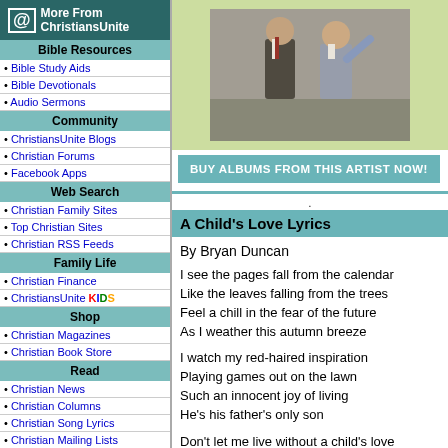[Figure (photo): Photo of two men, one in suit and tie, one in lighter colored outfit, posing together]
BUY ALBUMS FROM THIS ARTIST NOW!
A Child's Love Lyrics
By Bryan Duncan
I see the pages fall from the calendar
Like the leaves falling from the trees
Feel a chill in the fear of the future
As I weather this autumn breeze
I watch my red-haired inspiration
Playing games out on the lawn
Such an innocent joy of living
He's his father's only son
Don't let me live without a child's love
Like the love in this child of mine
More From ChristiansUnite
Bible Resources
Bible Study Aids
Bible Devotionals
Audio Sermons
Community
ChristiansUnite Blogs
Christian Forums
Facebook Apps
Web Search
Christian Family Sites
Top Christian Sites
Christian RSS Feeds
Family Life
Christian Finance
ChristiansUnite KIDS
Shop
Christian Magazines
Christian Book Store
Read
Christian News
Christian Columns
Christian Song Lyrics
Christian Mailing Lists
Connect
Christian Singles
Christian Classifieds
Graphics
Free Christian Clipart
Christian Wallpaper
Fun Stuff
Clean Christian Jokes